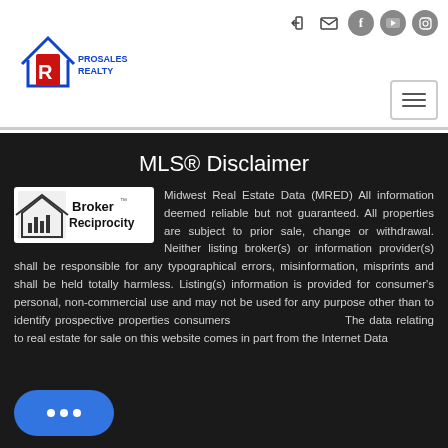[Figure (logo): ProSales Realty logo with house icon and letter R]
MLS® Disclaimer
[Figure (logo): Broker Reciprocity logo]
Midwest Real Estate Data (MRED) All information deemed reliable but not guaranteed. All properties are subject to prior sale, change or withdrawal. Neither listing broker(s) or information provider(s) shall be responsible for any typographical errors, misinformation, misprints and shall be held totally harmless. Listing(s) information is provided for consumer's personal, non-commercial use and may not be used for any purpose other than to identify prospective properties consumers interested in purchasing. The data relating to real estate for sale on this website comes in part from the Internet Data